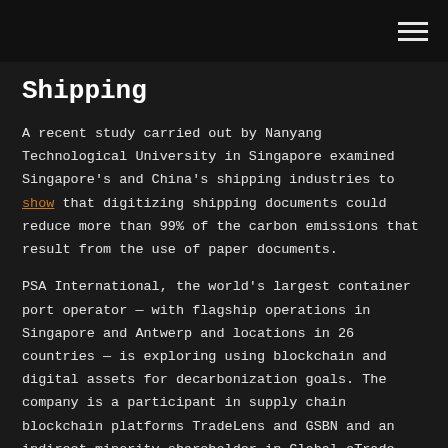Shipping
A recent study carried out by Nanyang Technological University in Singapore examined Singapore's and China's shipping industries to show that digitizing shipping documents could reduce more than 99% of the carbon emissions that result from the use of paper documents.
PSA International, the world's largest container port operator — with flagship operations in Singapore and Antwerp and locations in 26 countries — is exploring using blockchain and digital assets for decarbonization goals. The company is a participant in supply chain blockchain platforms TradeLens and GSBN and an indirect minority shareholder in Global eTrade Services, which offers its Open Trade Blockchain for documents. PSA signed a